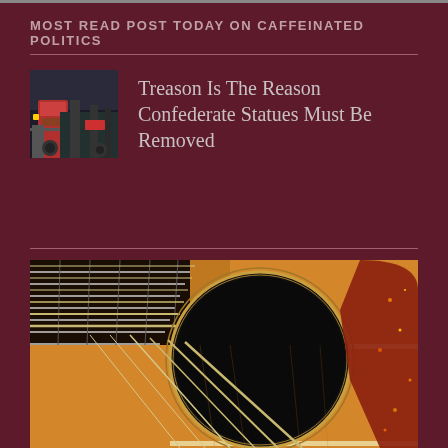MOST READ POST TODAY ON CAFFEINATED POLITICS
[Figure (photo): Small thumbnail image of a street scene with a red vehicle]
Treason Is The Reason Confederate Statues Must Be Removed
[Figure (photo): Close-up photograph of an acoustic guitar showing the sound hole, strings, neck, and body with warm golden-brown wood tones and a tortoise-shell pickguard]